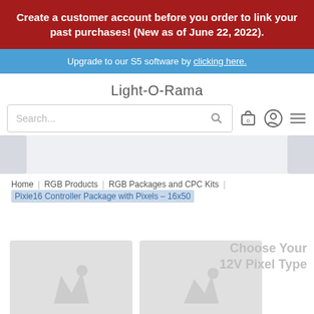Create a customer account before you order to link your past purchases! (New as of June 22, 2022).
Upgrade to our S5 software by clicking here.
Light-O-Rama
Search...
Home | RGB Products | RGB Packages and CPC Kits | Pixie16 Controller Package with Pixels – 16x50
Choose Your 12V Pixel Type
[Figure (photo): Product image placeholder 1 - light fixture]
[Figure (photo): Product image placeholder 2 - light fixture]